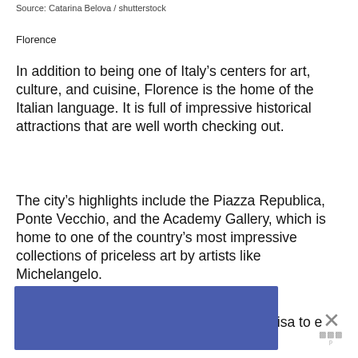Source: Catarina Belova / shutterstock
Florence
In addition to being one of Italy’s centers for art, culture, and cuisine, Florence is the home of the Italian language. It is full of impressive historical attractions that are well worth checking out.
The city’s highlights include the Piazza Republica, Ponte Vecchio, and the Academy Gallery, which is home to one of the country’s most impressive collections of priceless art by artists like Michelangelo.
Next, guests and their guide will head to Pisa to explore...and del Michelangelo.
[Figure (other): Advertisement overlay with blue banner and close button with X icon]